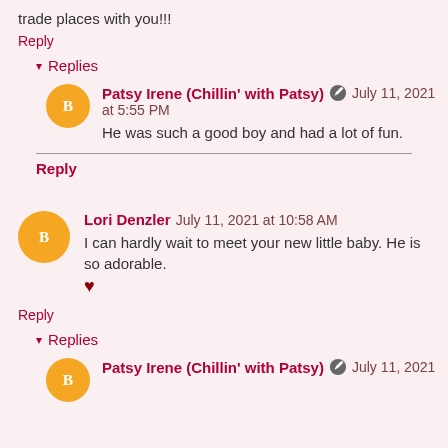trade places with you!!!
Reply
Replies
Patsy Irene (Chillin' with Patsy) July 11, 2021 at 5:55 PM
He was such a good boy and had a lot of fun.
Reply
Lori Denzler July 11, 2021 at 10:58 AM
I can hardly wait to meet your new little baby. He is so adorable. ♥
Reply
Replies
Patsy Irene (Chillin' with Patsy) July 11, 2021